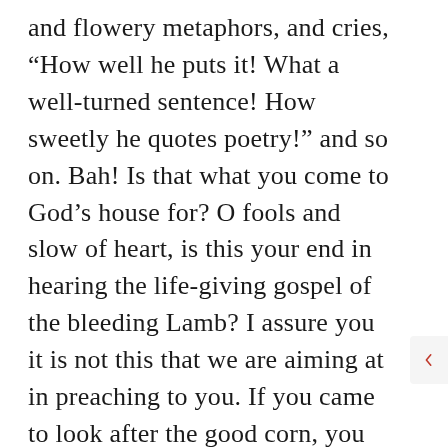and flowery metaphors, and cries, “How well he puts it! What a well-turned sentence! How sweetly he quotes poetry!” and so on. Bah! Is that what you come to God’s house for? O fools and slow of heart, is this your end in hearing the life-giving gospel of the bleeding Lamb? I assure you it is not this that we are aiming at in preaching to you. If you came to look after the good corn, you would care little for the gaudy poppies of a flaunting eloquence so much regarded by the men of these days. Come with the intent to find faith in Jesus;